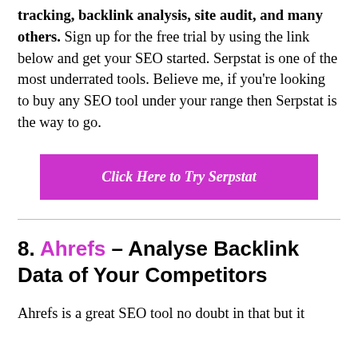tracking, backlink analysis, site audit, and many others. Sign up for the free trial by using the link below and get your SEO started. Serpstat is one of the most underrated tools. Believe me, if you're looking to buy any SEO tool under your range then Serpstat is the way to go.
[Figure (other): Magenta/pink button labeled 'Click Here to Try Serpstat']
8. Ahrefs – Analyse Backlink Data of Your Competitors
Ahrefs is a great SEO tool no doubt in that but it